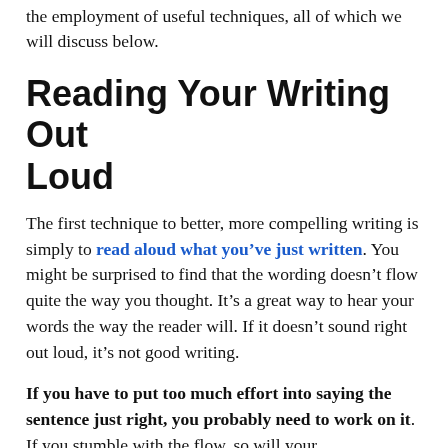the employment of useful techniques, all of which we will discuss below.
Reading Your Writing Out Loud
The first technique to better, more compelling writing is simply to read aloud what you’ve just written. You might be surprised to find that the wording doesn’t flow quite the way you thought. It’s a great way to hear your words the way the reader will. If it doesn’t sound right out loud, it’s not good writing.
If you have to put too much effort into saying the sentence just right, you probably need to work on it. If you stumble with the flow, so will your